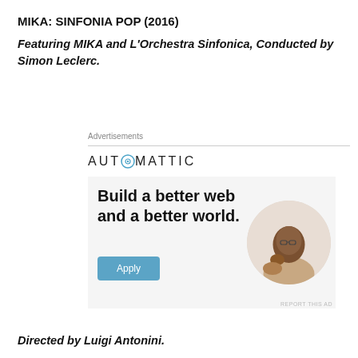MIKA: SINFONIA POP (2016)
Featuring MIKA and L'Orchestra Sinfonica, Conducted by Simon Leclerc.
[Figure (other): Automattic advertisement banner with headline 'Build a better web and a better world.' and an Apply button, featuring a circular photo of a man thinking at a desk.]
Directed by Luigi Antonini.